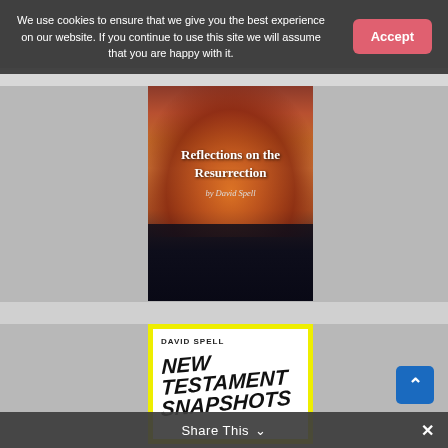We use cookies to ensure that we give you the best experience on our website. If you continue to use this site we will assume that you are happy with it.
[Figure (illustration): Book cover: 'Reflections on the Resurrection' by David Spell, showing a sunset over ocean water with orange/red sky and dark water reflection]
[Figure (illustration): Book cover: 'NEW TESTAMENT SNAPSHOTS' by David Spell, white cover with thick yellow border and large bold italic brushstroke-style text]
Share This